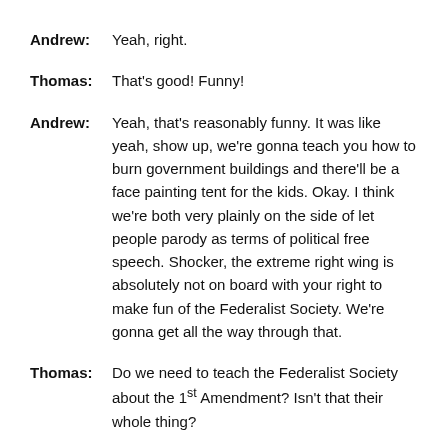Andrew: Yeah, right.
Thomas: That's good!  Funny!
Andrew: Yeah, that's reasonably funny.  It was like yeah, show up, we're gonna teach you how to burn government buildings and there'll be a face painting tent for the kids.  Okay.  I think we're both very plainly on the side of let people parody as terms of political free speech.  Shocker, the extreme right wing is absolutely not on board with your right to make fun of the Federalist Society.  We're gonna get all the way through that.
Thomas: Do we need to teach the Federalist Society about the 1st Amendment?  Isn't that their whole thing?
Andrew: We do!  We do.